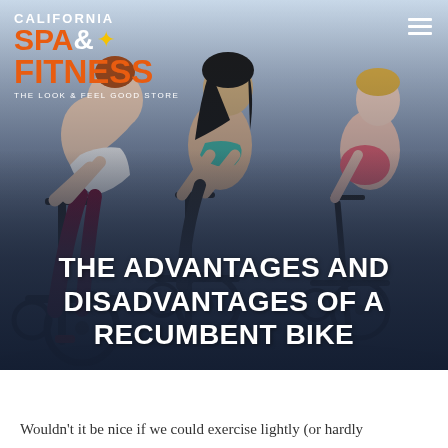[Figure (photo): Hero image of three women on spin/exercise bikes in a gym, wearing athletic clothing. The image has a dark gradient overlay at the bottom. In the top-left corner is the California Spa & Fitness logo. Top-right has a hamburger menu icon. Overlaid text reads 'THE ADVANTAGES AND DISADVANTAGES OF A RECUMBENT BIKE'.]
Wouldn't it be nice if we could exercise lightly (or hardly